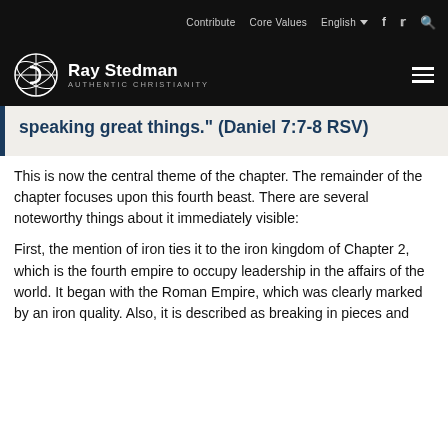Contribute   Core Values   English   f   Twitter   Search
Ray Stedman AUTHENTIC CHRISTIANITY
speaking great things." (Daniel 7:7-8 RSV)
This is now the central theme of the chapter. The remainder of the chapter focuses upon this fourth beast. There are several noteworthy things about it immediately visible:
First, the mention of iron ties it to the iron kingdom of Chapter 2, which is the fourth empire to occupy leadership in the affairs of the world. It began with the Roman Empire, which was clearly marked by an iron quality. Also, it is described as breaking in pieces and